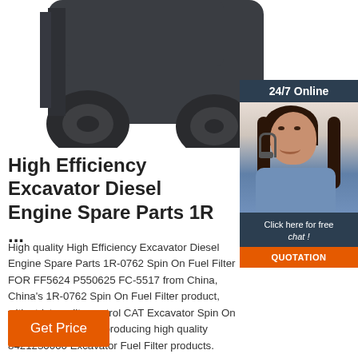[Figure (photo): Partial top view of a dark grey/black forklift or heavy construction vehicle showing front wheels and body]
[Figure (photo): Customer service agent woman with headset smiling, with '24/7 Online' badge, 'Click here for free chat!' text and orange QUOTATION button]
High Efficiency Excavator Diesel Engine Spare Parts 1R ...
High quality High Efficiency Excavator Diesel Engine Spare Parts 1R-0762 Spin On Fuel Filter FOR FF5624 P550625 FC-5517 from China, China's 1R-0762 Spin On Fuel Filter product, with strict quality control CAT Excavator Spin On Fuel Filter factories, producing high quality 8421230000 Excavator Fuel Filter products.
Get Price